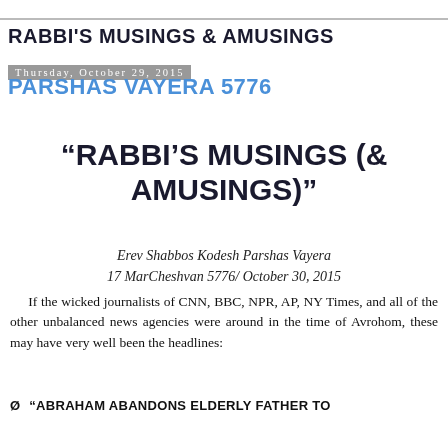RABBI'S MUSINGS & AMUSINGS
Thursday, October 29, 2015
PARSHAS VAYERA 5776
“RABBI’S MUSINGS (& AMUSINGS)”
Erev Shabbos Kodesh Parshas Vayera
17 MarCheshvan 5776/ October 30, 2015
If the wicked journalists of CNN, BBC, NPR, AP, NY Times, and all of the other unbalanced news agencies were around in the time of Avrohom, these may have very well been the headlines:
Ø  “ABRAHAM ABANDONS ELDERLY FATHER TO